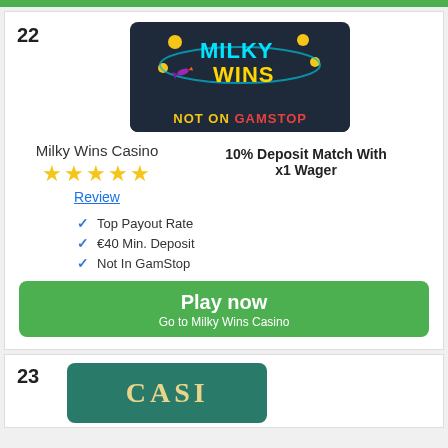[Figure (screenshot): Green top bar at top of page]
22
[Figure (logo): Milky Wins Casino logo on dark navy background with 'NOT ON GAMSTOP' text in yellow and red]
Milky Wins Casino
[Figure (other): 5 gold stars rating]
Review
10% Deposit Match With x1 Wager
Top Payout Rate
€40 Min. Deposit
Not In GamStop
Play now
Go to Milky Wins Casino
23
[Figure (logo): Teal casino logo with 'CASI' text visible at bottom of page]